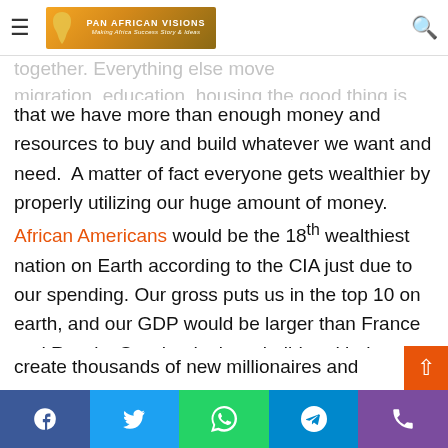Pan African Visions - Making Africa Success Story & Ideas
that we have more than enough money and resources to buy and build whatever we want and need.  A matter of fact everyone gets wealthier by properly utilizing our huge amount of money.  African Americans would be the 18th wealthiest nation on Earth according to the CIA just due to our spending. Our gross puts us in the top 10 on earth, and our GDP would be larger than France and Russia. So why don't we build and behave like France and Russia?  It is all about leadership, we have to be the Google and Apple of African development. And remember Google, Apple, Microsoft, and Yahoo were all started by just 2 people. Together we can be more powerful than all 4 of those companies put together-and look at the effect they have had on the world.  Automatically we would create thousands of new millionaires and dozens of
Facebook | Twitter | WhatsApp | Telegram | Phone